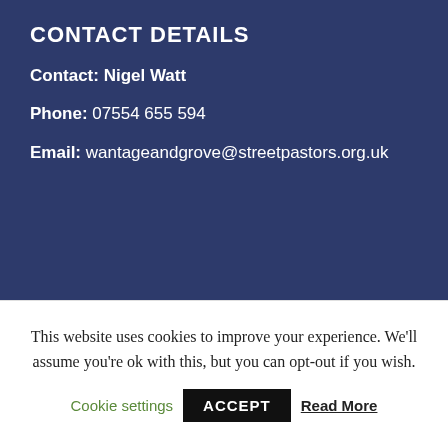CONTACT DETAILS
Contact: Nigel Watt
Phone: 07554 655 594
Email: wantageandgrove@streetpastors.org.uk
[Figure (logo): Ascension Trust logo — circular badge with green and dark blue wave shapes, text 'ASCENSION' and 'TRUST']
© Copyright 2020 Ascension Trust. All Right Reserved. All Privacy Policy
Street Pastors is an initiative of Ascension Trust, a registered charity in England & Wales, No. 1127204
This website uses cookies to improve your experience. We'll assume you're ok with this, but you can opt-out if you wish.
Cookie settings   ACCEPT   Read More